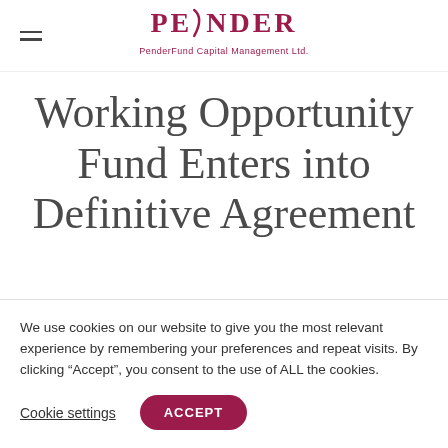[Figure (logo): Pender / PenderFund Capital Management Ltd. logo in dark red/maroon color]
Working Opportunity Fund Enters into Definitive Agreement
We use cookies on our website to give you the most relevant experience by remembering your preferences and repeat visits. By clicking “Accept”, you consent to the use of ALL the cookies.
Cookie settings  ACCEPT